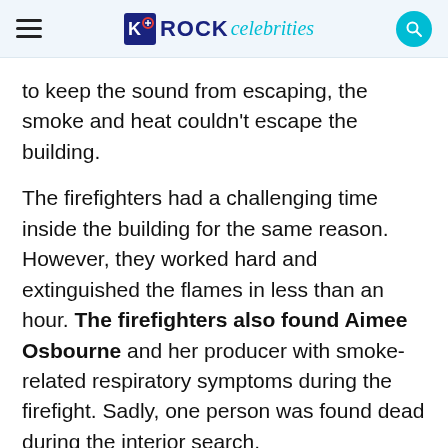ROCK celebrities
to keep the sound from escaping, the smoke and heat couldn't escape the building.
The firefighters had a challenging time inside the building for the same reason. However, they worked hard and extinguished the flames in less than an hour. The firefighters also found Aimee Osbourne and her producer with smoke-related respiratory symptoms during the firefight. Sadly, one person was found dead during the interior search.
Sharon Osbourne gave her followers details about the deadly studio fire in her recent